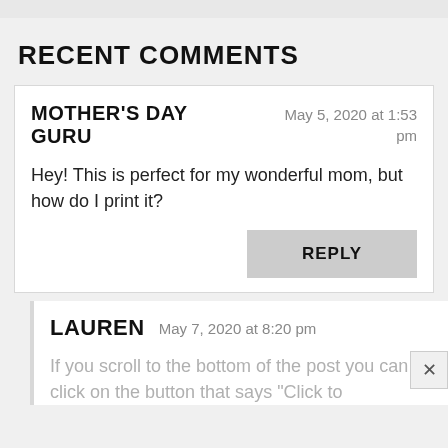RECENT COMMENTS
MOTHER'S DAY GURU
May 5, 2020 at 1:53 pm
Hey! This is perfect for my wonderful mom, but how do I print it?
REPLY
LAUREN
May 7, 2020 at 8:20 pm
If you scroll to the bottom of the post you can click on the button that says "Click to